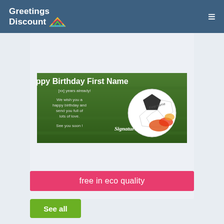Greetings Discount
[Figure (illustration): Birthday greeting card featuring a soccer ball on grass with text: Happy Birthday First Name, [xx] years already!, We wish you a happy birthday and send you full of lots of love. See you soon! Signature. First name printed on the ball.]
free in eco quality
See all